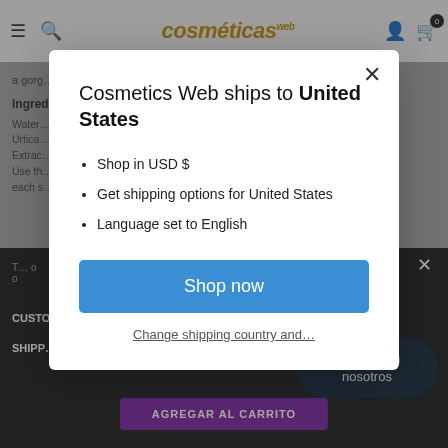[Figure (screenshot): Website screenshot background showing cosmetics web store navigation bar with hamburger menu, search icon, Cosmetics Web logo, user icon, and cart with 0 items. Below nav: partially visible product description text mentioning ingredients. Background is dimmed by modal overlay.]
[Figure (screenshot): Modal dialog popup: 'Cosmetics Web ships to United States' with bullet points: Shop in USD $, Get shipping options for United States, Language set to English. Blue 'Shop now' button. 'Change shipping country and...' link at bottom.]
Chatea con nosotros